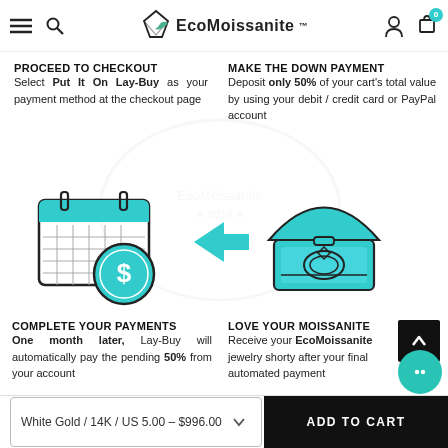EcoMoissanite™
PROCEED TO CHECKOUT
Select Put It On Lay-Buy as your payment method at the checkout page
MAKE THE DOWN PAYMENT
Deposit only 50% of your cart's total value by using your debit / credit card or PayPal account
[Figure (illustration): Calendar with dollar coin icon on left, arrow pointing right, jewelry ring box icon on right]
COMPLETE YOUR PAYMENTS
One month later, Lay-Buy will automatically pay the pending 50% from your account
LOVE YOUR MOISSANITE
Receive your EcoMoissanite jewelry shorty after your final automated payment
White Gold / 14K / US 5.00 - $996.00    ADD TO CART